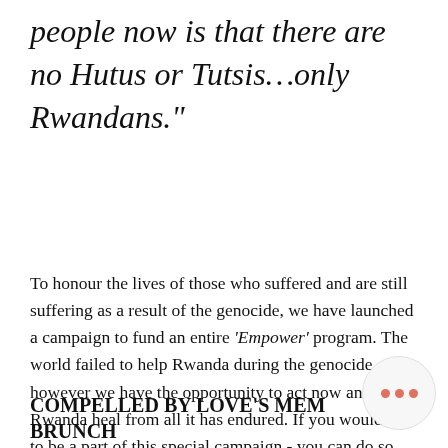people now is that there are no Hutus or Tutsis…only Rwandans."
To honour the lives of those who suffered and are still suffering as a result of the genocide, we have launched a campaign to fund an entire 'Empower' program. The world failed to help Rwanda during the genocide, however we have the opportunity to act now and help Rwanda heal from all it has endured. If you would like to be a part of this special campaign - you can do so here.
COMPELLED BY LOVE'S MEMORIAL BRUNCH